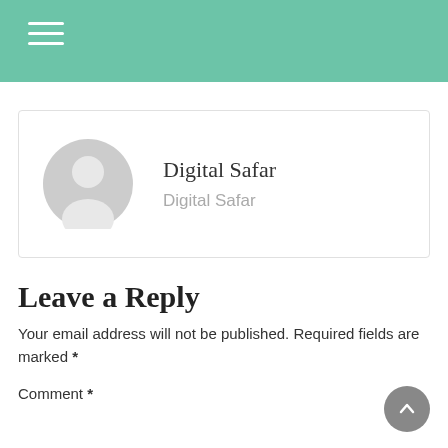Digital Safar website header with hamburger menu
[Figure (illustration): User profile card with grey avatar icon, name 'Digital Safar' and subtitle 'Digital Safar']
Leave a Reply
Your email address will not be published. Required fields are marked *
Comment *